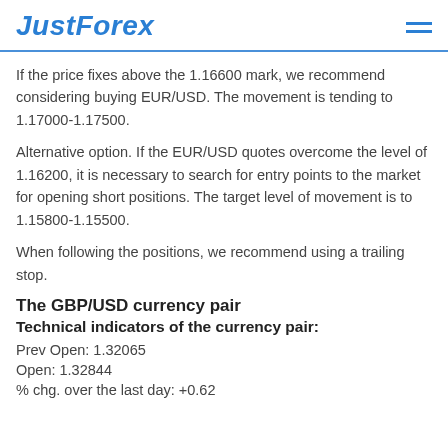JustForex
If the price fixes above the 1.16600 mark, we recommend considering buying EUR/USD. The movement is tending to 1.17000-1.17500.
Alternative option. If the EUR/USD quotes overcome the level of 1.16200, it is necessary to search for entry points to the market for opening short positions. The target level of movement is to 1.15800-1.15500.
When following the positions, we recommend using a trailing stop.
The GBP/USD currency pair
Technical indicators of the currency pair:
Prev Open: 1.32065
Open: 1.32844
% chg. over the last day: +0.62